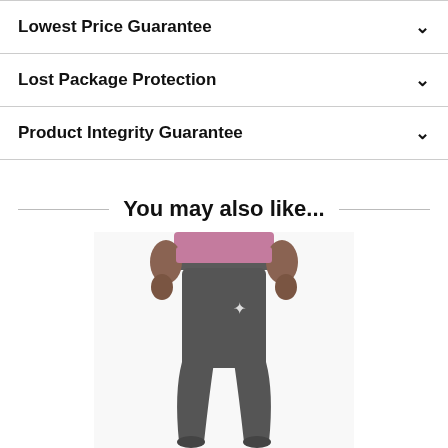Lowest Price Guarantee
Lost Package Protection
Product Integrity Guarantee
You may also like...
[Figure (photo): A person wearing dark gray jogger sweatpants with a pink top, showing the lower body with the pants tapered at the ankles.]